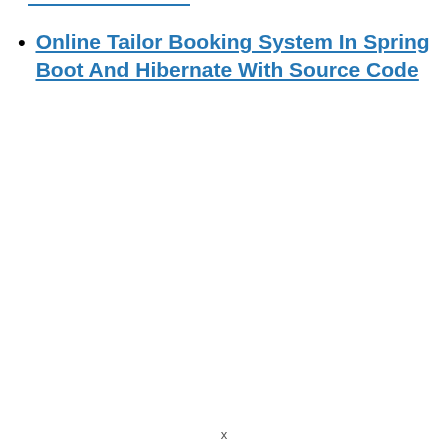Online Tailor Booking System In Spring Boot And Hibernate With Source Code